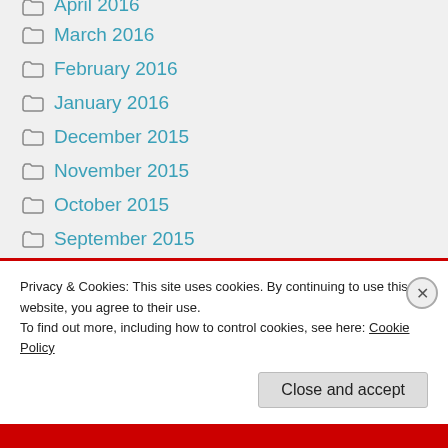April 2016
March 2016
February 2016
January 2016
December 2015
November 2015
October 2015
September 2015
August 2015
July 2015
Privacy & Cookies: This site uses cookies. By continuing to use this website, you agree to their use. To find out more, including how to control cookies, see here: Cookie Policy